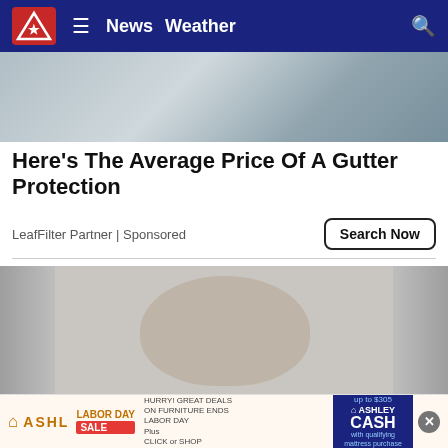News  Weather
[Figure (photo): Gutter protection advertisement image showing gutters and roofing]
Here's The Average Price Of A Gutter Protection
LeafFilter Partner | Sponsored
[Figure (photo): Mugshot of a young man with injuries to his face including bruising around the eye and lacerations on forehead]
[Figure (photo): Ashley Furniture Labor Day Sale advertisement banner with Ashley Cash promotion up to $305]